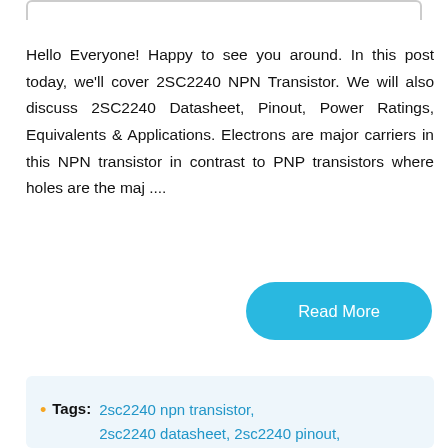Hello Everyone! Happy to see you around. In this post today, we'll cover 2SC2240 NPN Transistor. We will also discuss 2SC2240 Datasheet, Pinout, Power Ratings, Equivalents &amp; Applications. Electrons are major carriers in this NPN transistor in contrast to PNP transistors where holes are the maj ....
[Figure (other): Read More button — cyan rounded rectangle with white text]
Tags: 2sc2240 npn transistor, 2sc2240 datasheet, 2sc2240 pinout, 2sc2240 equivalents, 2sc2240 power ratings, 2sc2240 applications,